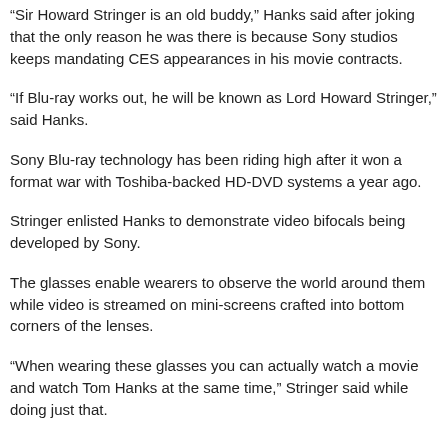"Sir Howard Stringer is an old buddy," Hanks said after joking that the only reason he was there is because Sony studios keeps mandating CES appearances in his movie contracts.
"If Blu-ray works out, he will be known as Lord Howard Stringer," said Hanks.
Sony Blu-ray technology has been riding high after it won a format war with Toshiba-backed HD-DVD systems a year ago.
Stringer enlisted Hanks to demonstrate video bifocals being developed by Sony.
The glasses enable wearers to observe the world around them while video is streamed on mini-screens crafted into bottom corners of the lenses.
"When wearing these glasses you can actually watch a movie and watch Tom Hanks at the same time," Stringer said while doing just that.